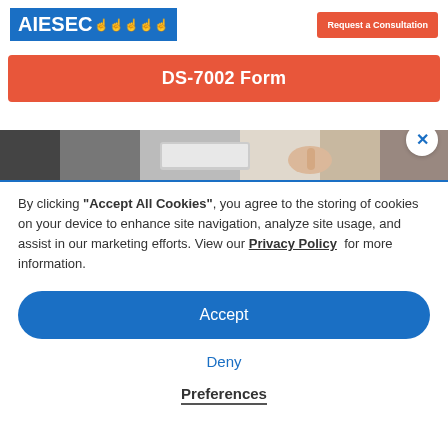AIESEC
DS-7002 Form
[Figure (photo): Photo strip showing a person working at a laptop, cropped view with hands visible]
By clicking “Accept All Cookies”, you agree to the storing of cookies on your device to enhance site navigation, analyze site usage, and assist in our marketing efforts. View our Privacy Policy for more information.
Accept
Deny
Preferences